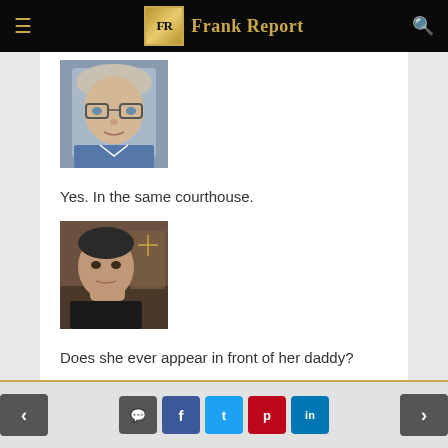Frank Report
[Figure (photo): Portrait photo of a middle-aged person with glasses and short grey hair, wearing a blue shirt, appearing to be in a room]
Yes. In the same courthouse.
[Figure (photo): Portrait photo of a man with dark hair sitting in what appears to be a courtroom, resting his chin on his hand, looking thoughtfully]
Does she ever appear in front of her daddy?